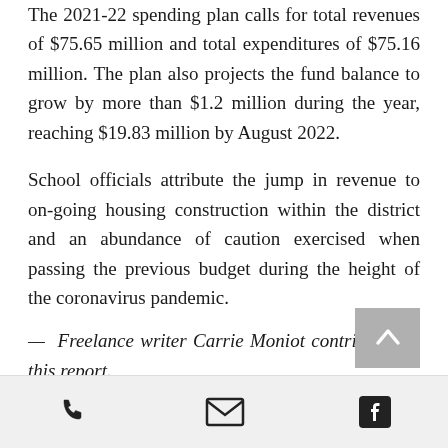The 2021-22 spending plan calls for total revenues of $75.65 million and total expenditures of $75.16 million. The plan also projects the fund balance to grow by more than $1.2 million during the year, reaching $19.83 million by August 2022.
School officials attribute the jump in revenue to on-going housing construction within the district and an abundance of caution exercised when passing the previous budget during the height of the coronavirus pandemic.
— Freelance writer Carrie Moniot contributed to this report.
[Figure (other): Page footer with phone, email, and Facebook icons, and a scroll-to-top button]